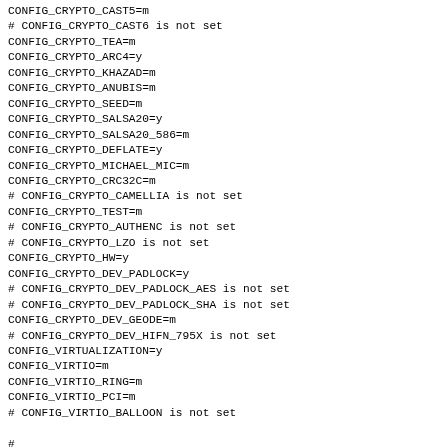CONFIG_CRYPTO_CAST5=m
# CONFIG_CRYPTO_CAST6 is not set
CONFIG_CRYPTO_TEA=m
CONFIG_CRYPTO_ARC4=y
CONFIG_CRYPTO_KHAZAD=m
CONFIG_CRYPTO_ANUBIS=m
CONFIG_CRYPTO_SEED=m
CONFIG_CRYPTO_SALSA20=y
CONFIG_CRYPTO_SALSA20_586=m
CONFIG_CRYPTO_DEFLATE=y
CONFIG_CRYPTO_MICHAEL_MIC=m
CONFIG_CRYPTO_CRC32C=m
# CONFIG_CRYPTO_CAMELLIA is not set
CONFIG_CRYPTO_TEST=m
# CONFIG_CRYPTO_AUTHENC is not set
# CONFIG_CRYPTO_LZO is not set
CONFIG_CRYPTO_HW=y
CONFIG_CRYPTO_DEV_PADLOCK=y
# CONFIG_CRYPTO_DEV_PADLOCK_AES is not set
# CONFIG_CRYPTO_DEV_PADLOCK_SHA is not set
CONFIG_CRYPTO_DEV_GEODE=m
# CONFIG_CRYPTO_DEV_HIFN_795X is not set
CONFIG_VIRTUALIZATION=y
CONFIG_VIRTIO=m
CONFIG_VIRTIO_RING=m
CONFIG_VIRTIO_PCI=m
# CONFIG_VIRTIO_BALLOON is not set

#
# Library routines
#